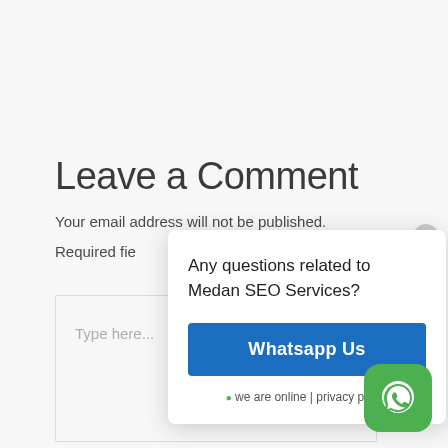Leave a Comment
Your email address will not be published.
Required fie...
Type here...
[Figure (screenshot): Modal popup with text 'Any questions related to Medan SEO Services?' and a blue 'Whatsapp Us' button, plus a close button (X) in top-right corner and footer text '● we are online | privacy policy']
[Figure (logo): WhatsApp floating icon button in bottom-right corner, green rounded square with white WhatsApp phone/speech bubble icon]